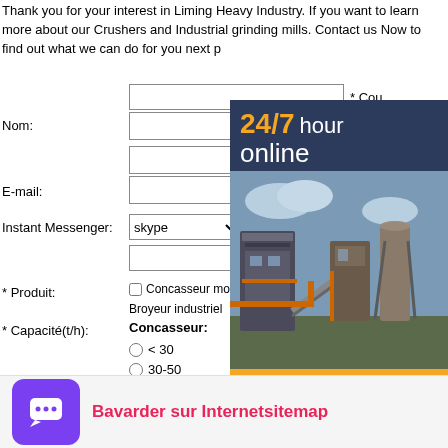Thank you for your interest in Liming Heavy Industry. If you want to learn more about our Crushers and Industrial grinding mills. Contact us Now to find out what we can do for you next p…
[Figure (infographic): Sidebar banner with dark blue background showing '24/7 hour online' text in gold/white, industrial machinery photograph, 'Get Price' button in orange, and 'Quoting Online' button]
Nom:
E-mail:
Instant Messenger:
* Produit:
* Capacité(t/h):
* Cou…
* Tel:
Concasseur mobile   Concass…
Broyeur industriel   Machine min…
Concasseur:
< 30
30-50
50-100
100-200
[Figure (infographic): Purple chat icon button with speech bubble icon and text 'Bavarder sur Internetsitemap' in pink/red bold font]